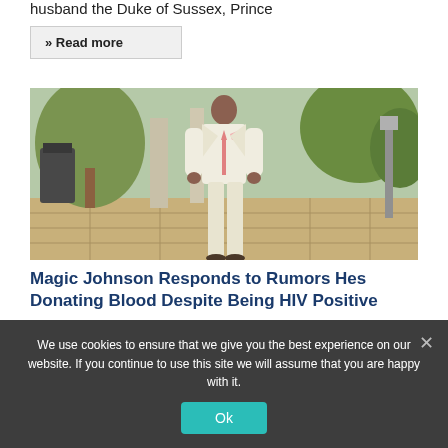husband the Duke of Sussex, Prince
» Read more
[Figure (photo): A man in a white suit with a pink tie standing outdoors on a stone patio with greenery in the background]
Magic Johnson Responds to Rumors Hes Donating Blood Despite Being HIV Positive
We use cookies to ensure that we give you the best experience on our website. If you continue to use this site we will assume that you are happy with it.
Ok